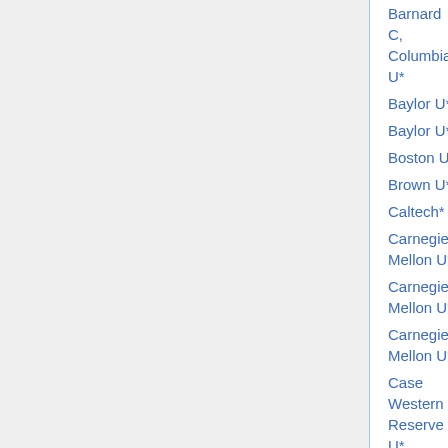| Institution | Area | Date | Note |
| --- | --- | --- | --- |
| Barnard C, Columbia U* | all math | Jan 1 |  |
| Baylor U* | pure (p) | Nov 15 |  |
| Baylor U* | applied (p) | Nov 15 |  |
| Boston U* | dynamics | Jan 2 |  |
| Brown U* | applied | Nov 16 | jeopardize |
| Caltech* | various (p) | ? |  |
| Carnegie Mellon U* | applied | Oct 25 |  |
| Carnegie Mellon U* | combinatorics | Dec 1 |  |
| Carnegie Mellon U* | probability | Jan 12 |  |
| Case Western Reserve U* | applied | Nov 15 |  |
| Case Western R... | algebra (p) | Nov 15 |  |